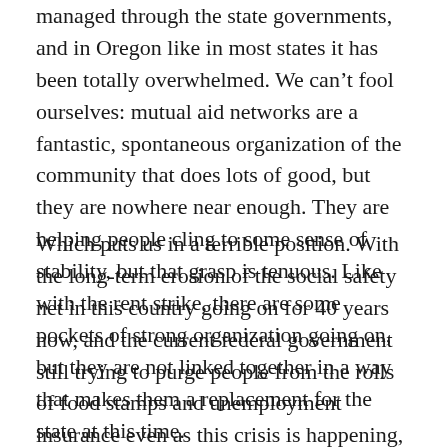managed through the state governments, and in Oregon like in most states it has been totally overwhelmed. We can't fool ourselves: mutual aid networks are a fantastic, spontaneous organization of the community that does lots of good, but they are nowhere near enough. They are helping people cling to some sense of stability, but that grasp is tenuous. Like with the rent strike, there are some pockets of strong organization going on, but they are not linked together in a way that makes them a replacement for the state at this time.
Which puts us in a terrible position. With the long-term erosion of the social safety net in this country going on for 40 years now, and the current federal government still trying to purge people from the rolls of food stamps and unemployment insurance even as this crisis is happening, we can cling to mutual aid, and seek help with our friends and families. Often this can be the stick of wood that keeps the roof from